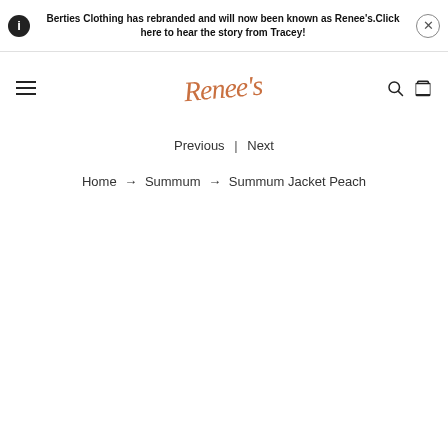Berties Clothing has rebranded and will now been known as Renee's.Click here to hear the story from Tracey!
[Figure (logo): Renee's cursive script logo in orange/terracotta color]
Previous | Next
Home → Summum → Summum Jacket Peach